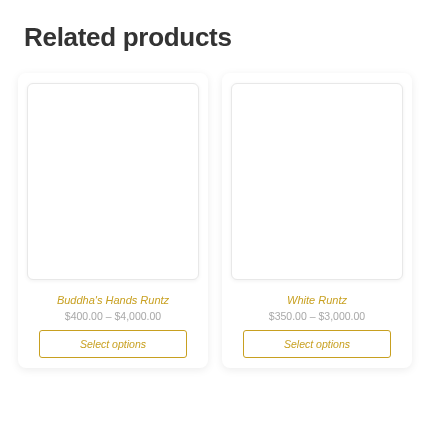Related products
[Figure (other): Product card image placeholder (white rectangle with light border) for Buddha's Hands Runtz]
Buddha's Hands Runtz
$400.00 – $4,000.00
Select options
[Figure (other): Product card image placeholder (white rectangle with light border) for White Runtz]
White Runtz
$350.00 – $3,000.00
Select options